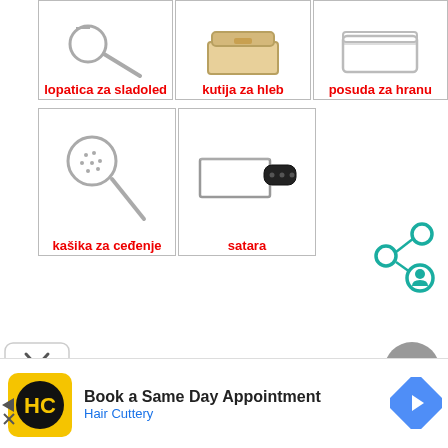[Figure (screenshot): Grid of kitchen utensil product images with Serbian labels. Row 1: lopatica za sladoled (ice cream scoop), kutija za hleb (bread box), posuda za hranu (food container). Row 2: kašika za ceđenje (strainer spoon), satara (cleaver).]
[Figure (infographic): Share icon (teal circles with connecting lines and a user profile circle)]
[Figure (infographic): Scroll-to-top button: grey circle with white upward chevron]
[Figure (infographic): Chevron/collapse button at bottom left]
[Figure (infographic): Advertisement bar: Hair Cuttery - Book a Same Day Appointment, with yellow HC logo and blue navigation arrow icon]